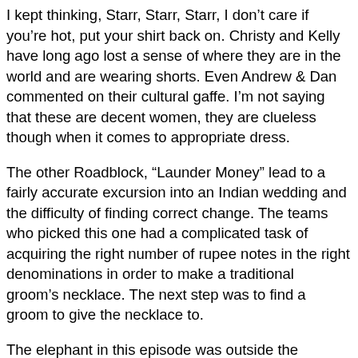I kept thinking, Starr, Starr, Starr, I don't care if you're hot, put your shirt back on. Christy and Kelly have long ago lost a sense of where they are in the world and are wearing shorts. Even Andrew & Dan commented on their cultural gaffe. I'm not saying that these are decent women, they are clueless though when it comes to appropriate dress.
The other Roadblock, “Launder Money” lead to a fairly accurate excursion into an Indian wedding and the difficulty of finding correct change. The teams who picked this one had a complicated task of acquiring the right number of rupee notes in the right denominations in order to make a traditional groom’s necklace. The next step was to find a groom to give the necklace to.
The elephant in this episode was outside the wedding hall. It’s common for a groom to come riding to a wedding on an elephant. Horses are also used. Also present were horn playing and throngs of dancing people. The noise can be overwhelming, but the weddings I’ve been to are not this...